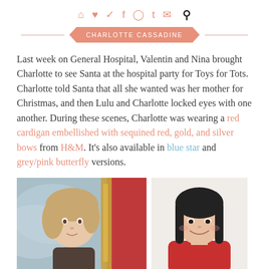⌂ ℗ ✦ f ⬡ t ✉  🔍
CHARLOTTE CASSADINE
Last week on General Hospital, Valentin and Nina brought Charlotte to see Santa at the hospital party for Toys for Tots. Charlotte told Santa that all she wanted was her mother for Christmas, and then Lulu and Charlotte locked eyes with one another. During these scenes, Charlotte was wearing a red cardigan embellished with sequined red, gold, and silver bows from H&M. It's also available in blue star and grey/pink butterfly versions.
[Figure (photo): Two photos side by side: left shows a young blonde girl from the TV show, right shows a smiling young Asian girl in a red top (H&M model)]